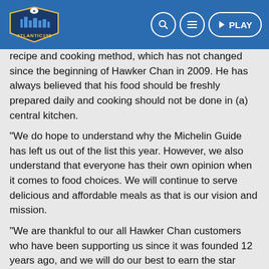[Figure (logo): Atlantic195 logo with navigation buttons (search, menu, PLAY) on blue header bar]
...famous soy sauce chicken rice since 2009 with his secret recipe and cooking method, which has not changed since the beginning of Hawker Chan in 2009. He has always believed that his food should be freshly prepared daily and cooking should not be done in (a) central kitchen.
“We do hope to understand why the Michelin Guide has left us out of the list this year. However, we also understand that everyone has their own opinion when it comes to food choices. We will continue to serve delicious and affordable meals as that is our vision and mission.
“We are thankful to our all Hawker Chan customers who have been supporting us since it was founded 12 years ago, and we will do our best to earn the star again for the upcoming year.”
‘Michelin has correctly stuck to their guns’
While some have applauded the Malaysia-born chef for